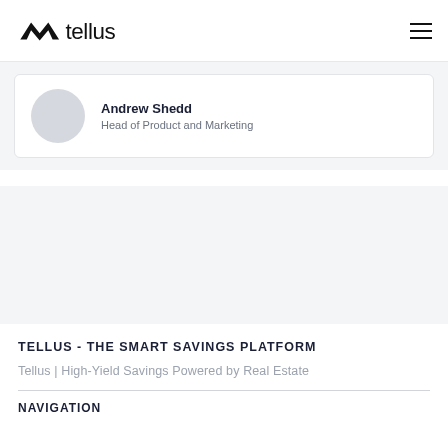tellus
Andrew Shedd
Head of Product and Marketing
TELLUS - THE SMART SAVINGS PLATFORM
Tellus | High-Yield Savings Powered by Real Estate
NAVIGATION